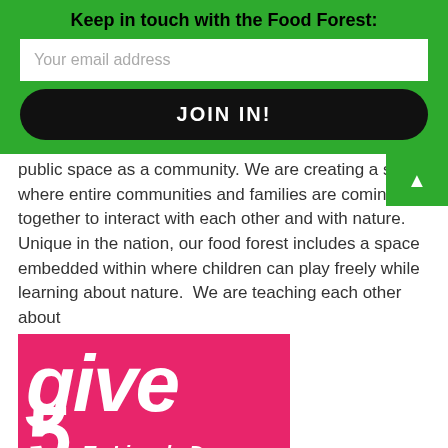Keep in touch with the Food Forest:
Your email address
JOIN IN!
public space as a community. We are creating a space where entire communities and families are coming together to interact with each other and with nature. Unique in the nation, our food forest includes a space embedded within where children can play freely while learning about nature.  We are teaching each other about food and ecology, all while forming multi-
[Figure (illustration): Pink promotional image with 'give 5 To Lincoln Day THURSDAY' text in white on hot pink and black background.]